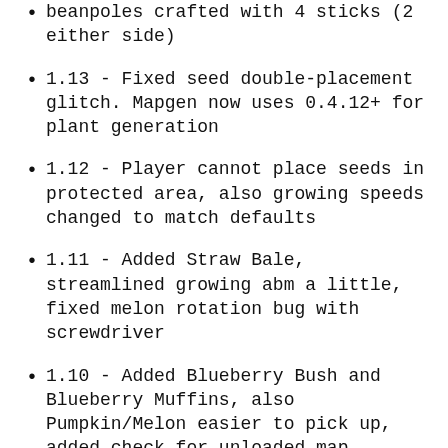beanpoles crafted with 4 sticks (2 either side)
1.13 - Fixed seed double-placement glitch. Mapgen now uses 0.4.12+ for plant generation
1.12 - Player cannot place seeds in protected area, also growing speeds changed to match defaults
1.11 - Added Straw Bale, streamlined growing abm a little, fixed melon rotation bug with screwdriver
1.10 - Added Blueberry Bush and Blueberry Muffins, also Pumpkin/Melon easier to pick up, added check for unloaded map
1.09 - Corn now uses single nodes instead of 1 ontop of the other, Ethanol recipe is more expensive (requires 5